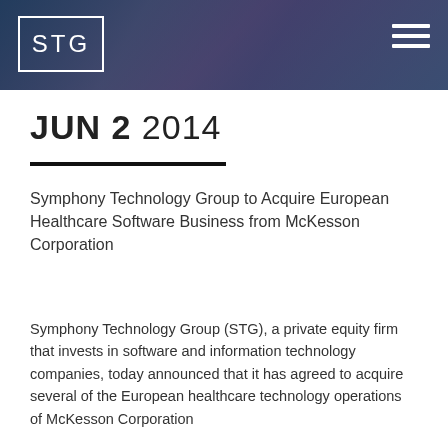STG
JUN 2 2014
Symphony Technology Group to Acquire European Healthcare Software Business from McKesson Corporation
Symphony Technology Group (STG), a private equity firm that invests in software and information technology companies, today announced that it has agreed to acquire several of the European healthcare technology operations of McKesson Corporation